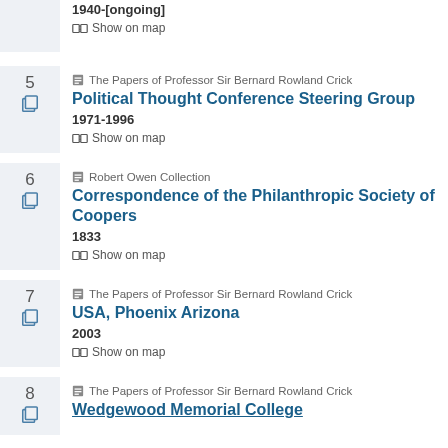1940-[ongoing] Show on map (partial, top)
5 | The Papers of Professor Sir Bernard Rowland Crick | Political Thought Conference Steering Group | 1971-1996 | Show on map
6 | Robert Owen Collection | Correspondence of the Philanthropic Society of Coopers | 1833 | Show on map
7 | The Papers of Professor Sir Bernard Rowland Crick | USA, Phoenix Arizona | 2003 | Show on map
8 | The Papers of Professor Sir Bernard Rowland Crick | Wedgewood Memorial College (partial, bottom)